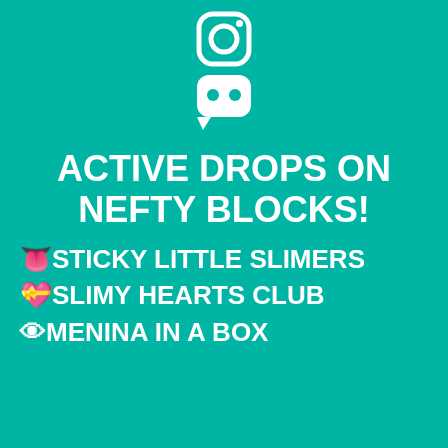[Figure (logo): Instagram icon (white outline camera) and Discord icon (white speech bubble with game controller face) stacked vertically on teal background]
ACTIVE DROPS ON NEFTY BLOCKS!
👅 STICKY LITTLE SLIMERS
💝 SLIMY HEARTS CLUB
👁 MENINA IN A BOX